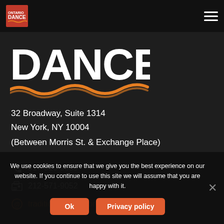[Figure (logo): Ontario Dance logo in top navigation bar - small orange/red logo with text DANCE]
[Figure (logo): Large DANCE text logo in white with orange wave/swoosh underneath]
32 Broadway, Suite 1314
New York, NY 10004
(Between Morris St. & Exchange Place)
917-326-9659
212-571-9052
traditions@ctmd.org
We use cookies to ensure that we give you the best experience on our website. If you continue to use this site we will assume that you are happy with it.
Ok
Privacy policy